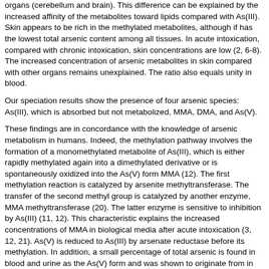organs (cerebellum and brain). This difference can be explained by the increased affinity of the metabolites toward lipids compared with As(III). Skin appears to be rich in the methylated metabolites, although if has the lowest total arsenic content among all tissues. In acute intoxication, compared with chronic intoxication, skin concentrations are low (2, 6-8). The increased concentration of arsenic metabolites in skin compared with other organs remains unexplained. The ratio also equals unity in blood.
Our speciation results show the presence of four arsenic species: As(III), which is absorbed but not metabolized, MMA, DMA, and As(V).
These findings are in concordance with the knowledge of arsenic metabolism in humans. Indeed, the methylation pathway involves the formation of a monomethylated metabolite of As(III), which is either rapidly methylated again into a dimethylated derivative or is spontaneously oxidized into the As(V) form MMA (12). The first methylation reaction is catalyzed by arsenite methyltransferase. The transfer of the second methyl group is catalyzed by another enzyme, MMA methyltransferase (20). The latter enzyme is sensitive to inhibition by As(III) (11, 12). This characteristic explains the increased concentrations of MMA in biological media after acute intoxication (3, 12, 21). As(V) is reduced to As(III) by arsenate reductase before its methylation. In addition, a small percentage of total arsenic is found in blood and urine as the As(V) form and was shown to originate from in vivo oxidation of absorbed As(III); the mechanism of this oxidation, however, is unknown (2,21). When viewed collectively, studies of the transformations of ingested inorganic species in humans and mammals (2, 11, 12, 21, 22) lead to the postulation of a general mechanistic sequence: As(V) [??] As(III) [right arrow] MMA [right arrow] DMA.
The methylated metabolites (MMA and DMA) show a very weak affinity for